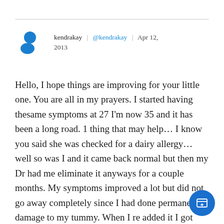[Figure (other): User profile header with avatar icon, username 'kendrakay', handle '@kendrakay', and date 'Apr 12, 2013']
Hello, I hope things are improving for your little one. You are all in my prayers. I started having thesame symptoms at 27 I'm now 35 and it has been a long road. 1 thing that may help... I know you said she was checked for a dairy allergy... well so was I and it came back normal but then my Dr had me eliminate it anyways for a couple months. My symptoms improved a lot but did not go away completely since I had done permanent damage to my tummy. When I re added it I got sick